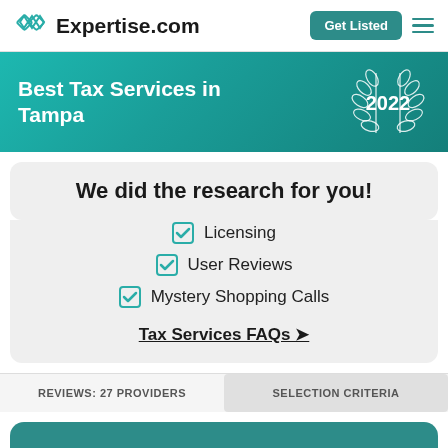Expertise.com — Get Listed
Best Tax Services in Tampa 2022
We did the research for you!
Licensing
User Reviews
Mystery Shopping Calls
Tax Services FAQs →
REVIEWS: 27 PROVIDERS
SELECTION CRITERIA